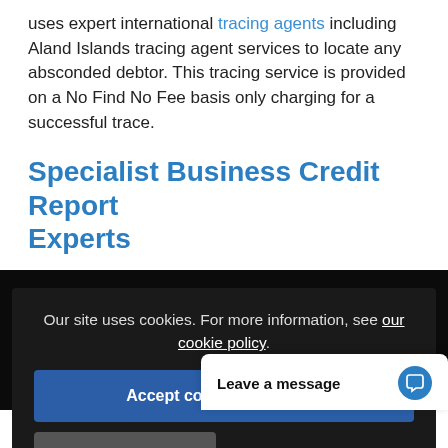uses expert international tracing agents including Aland Islands tracing agent services to locate any absconded debtor. This tracing service is provided on a No Find No Fee basis only charging for a successful trace.
Specialist Business Credit Report Experts
There are many unique requirements to providing international business credit reports in all countries including Aland Islands business credit reporting service... service... information is obtained directly by our expert international... partners and not fr...
Our site uses cookies. For more information, see our cookie policy.
Accept cookies and close
Reject cooki...
Leave a message